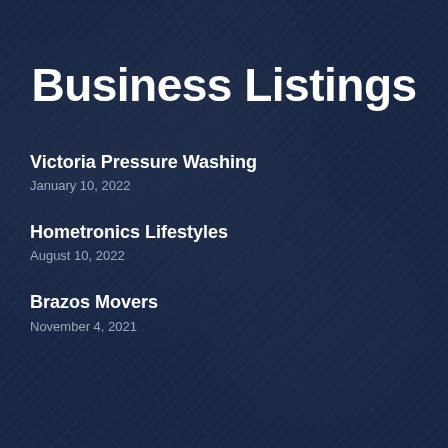Business Listings
Victoria Pressure Washing
January 10, 2022
Hometronics Lifestyles
August 10, 2022
Brazos Movers
November 4, 2021